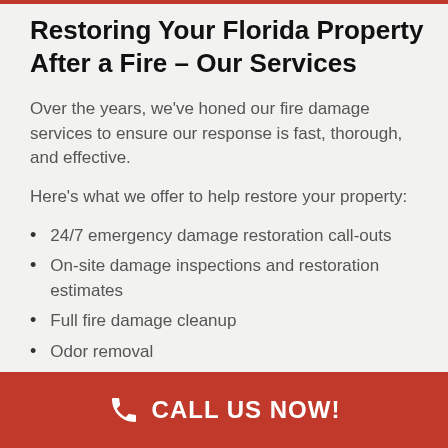Restoring Your Florida Property After a Fire – Our Services
Over the years, we've honed our fire damage services to ensure our response is fast, thorough, and effective.
Here's what we offer to help restore your property:
24/7 emergency damage restoration call-outs
On-site damage inspections and restoration estimates
Full fire damage cleanup
Odor removal
Post-fire repairs
CALL US NOW!